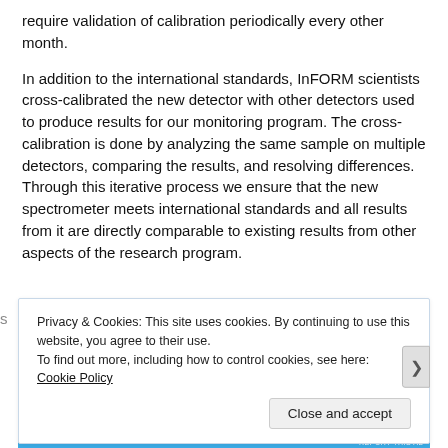require validation of calibration periodically every other month.
In addition to the international standards, InFORM scientists cross-calibrated the new detector with other detectors used to produce results for our monitoring program. The cross-calibration is done by analyzing the same sample on multiple detectors, comparing the results, and resolving differences. Through this iterative process we ensure that the new spectrometer meets international standards and all results from it are directly comparable to existing results from other aspects of the research program.
Privacy & Cookies: This site uses cookies. By continuing to use this website, you agree to their use. To find out more, including how to control cookies, see here: Cookie Policy
Close and accept